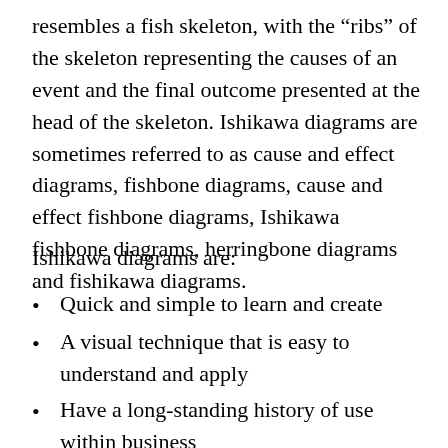resembles a fish skeleton, with the “ribs” of the skeleton representing the causes of an event and the final outcome presented at the head of the skeleton. Ishikawa diagrams are sometimes referred to as cause and effect diagrams, fishbone diagrams, cause and effect fishbone diagrams, Ishikawa fishbone diagrams, herringbone diagrams and fishikawa diagrams.
Ishikawa diagrams are:
Quick and simple to learn and create
A visual technique that is easy to understand and apply
Have a long-standing history of use within business